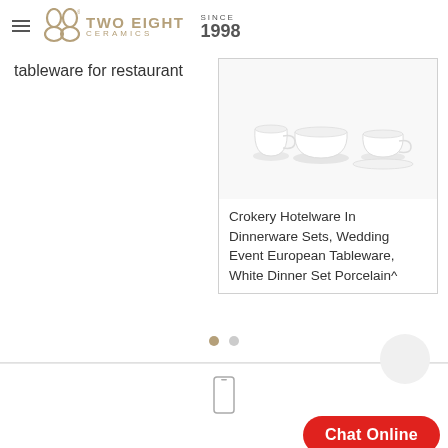[Figure (logo): Two Eight Ceramics logo with stylized double-8 symbol, brand name and SINCE 1998]
tableware for restaurant
[Figure (photo): White ceramic dinnerware set including cups, saucers, bowls on white background]
Crokery Hotelware In Dinnerware Sets, Wedding Event European Tableware, White Dinner Set Porcelain^
[Figure (other): Pagination dots: one active (tan) and one inactive (grey)]
[Figure (other): Phone/contact icon]
Chat Online